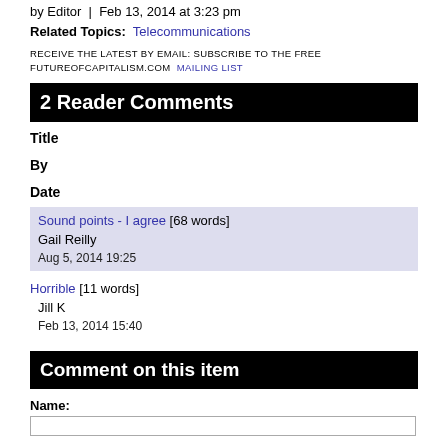by Editor  |  Feb 13, 2014 at 3:23 pm
Related Topics:  Telecommunications
RECEIVE THE LATEST BY EMAIL: SUBSCRIBE TO THE FREE FUTUREOFCAPITALISM.COM MAILING LIST
2 Reader Comments
Title
By
Date
Sound points - I agree [68 words] | Gail Reilly | Aug 5, 2014 19:25
Horrible [11 words] | Jill K | Feb 13, 2014 15:40
Comment on this item
Name: